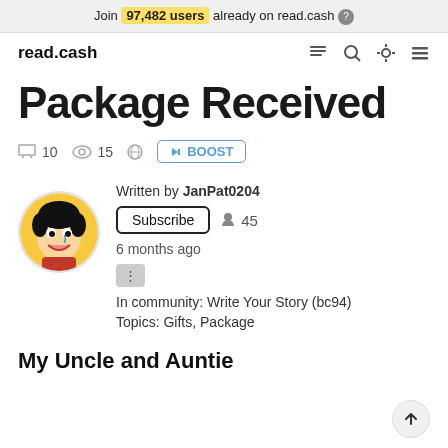Join 97,482 users already on read.cash
read.cash
Package Received
10 comments · 15 views · BOOST
Written by JanPat0204
Subscribe · 45 followers
6 months ago
In community: Write Your Story (bc94)
Topics: Gifts, Package
My Uncle and Auntie